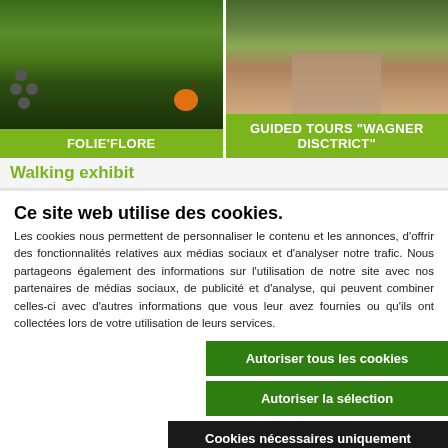[Figure (photo): Garden/park photo with pumpkin decoration, stepping stones on grass, red flowers]
FOLIE'FLORE
[Figure (photo): Aerial or path view of Wagner District area with trees and road]
GUIDED TOURS "WAGNER DISCTRICT"
Walking exhibit
Ce site web utilise des cookies.
Les cookies nous permettent de personnaliser le contenu et les annonces, d'offrir des fonctionnalités relatives aux médias sociaux et d'analyser notre trafic. Nous partageons également des informations sur l'utilisation de notre site avec nos partenaires de médias sociaux, de publicité et d'analyse, qui peuvent combiner celles-ci avec d'autres informations que vous leur avez fournies ou qu'ils ont collectées lors de votre utilisation de leurs services.
Autoriser tous les cookies
Autoriser la sélection
Cookies nécessaires uniquement
Nécessaires
Statistiques
Préférences
Marketing
Afficher les détails